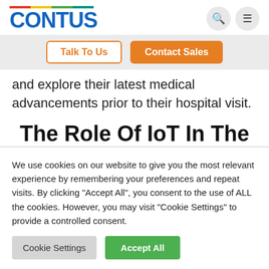CONTUS
and explore their latest medical advancements prior to their hospital visit.
The Role Of IoT In The Healthcare Industry
We use cookies on our website to give you the most relevant experience by remembering your preferences and repeat visits. By clicking "Accept All", you consent to the use of ALL the cookies. However, you may visit "Cookie Settings" to provide a controlled consent.